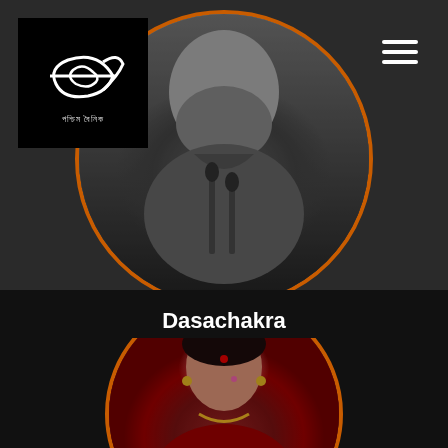[Figure (photo): Black and white circular portrait photo of an elderly bearded man, framed with an orange circular border, on dark background]
[Figure (logo): Black logo box in top-left with Bengali text symbol (Pachim Bhanik) in white on black background]
Dasachakra
Dasachakra is the Bengali adaption of the play " An Enemy Of The People" by Norwegian playwright He
More
[Figure (photo): Circular portrait of a woman in traditional Indian dance costume (red outfit, jewelry, classical makeup), framed with orange circular border, partially visible at bottom]